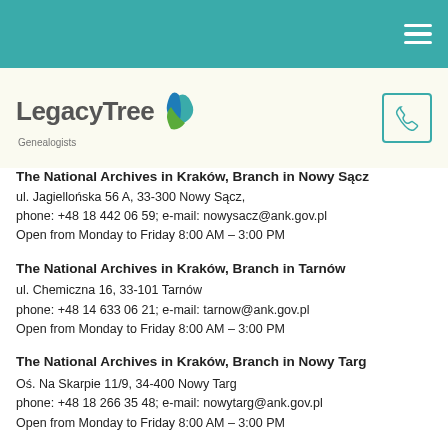LegacyTree Genealogists website header with hamburger menu
[Figure (logo): LegacyTree Genealogists logo with leaf graphic and phone icon]
The National Archives in Kraków, Branch in Nowy Sącz
ul. Jagiellońska 56 A, 33-300 Nowy Sącz,
phone: +48 18 442 06 59; e-mail: nowysacz@ank.gov.pl
Open from Monday to Friday 8:00 AM – 3:00 PM
The National Archives in Kraków, Branch in Tarnów
ul. Chemiczna 16, 33-101 Tarnów
phone: +48 14 633 06 21; e-mail: tarnow@ank.gov.pl
Open from Monday to Friday 8:00 AM – 3:00 PM
The National Archives in Kraków, Branch in Nowy Targ
Oś. Na Skarpie 11/9, 34-400 Nowy Targ
phone: +48 18 266 35 48; e-mail: nowytarg@ank.gov.pl
Open from Monday to Friday 8:00 AM – 3:00 PM
The National Archives in Kraków, Branch in Spytkowice